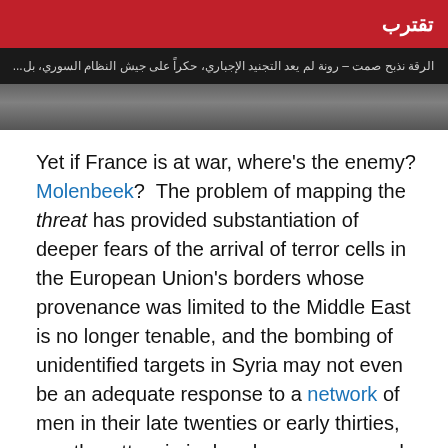[Figure (screenshot): Screenshot of an Arabic-language news website with a red header bar showing Arabic text 'تقترب', a dark caption bar with Arabic text, and a photograph below.]
Yet if France is at war, where's the enemy?  Molenbeek?  The problem of mapping the threat has provided substantiation of deeper fears of the arrival of terror cells in the European Union's borders whose provenance was limited to the Middle East is no longer tenable, and the bombing of unidentified targets in Syria may not even be an adequate response to a network of men in their late twenties or early thirties, mostly petty criminals, who are presumed to have recently traveled to Syria.  Even if their radicalization occurred in Syria, they are not refugees.